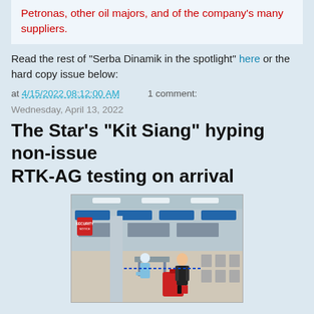Petronas, other oil majors, and of the company's many suppliers.
Read the rest of "Serba Dinamik in the spotlight" here or the hard copy issue below:
at 4/15/2022 08:12:00 AM    1 comment:
Wednesday, April 13, 2022
The Star's "Kit Siang" hyping non-issue RTK-AG testing on arrival
[Figure (photo): Airport scene showing a person in dark clothing with a red suitcase standing near a testing station where a healthcare worker in PPE is seated, inside an airport terminal with check-in counters and chairs in the background.]